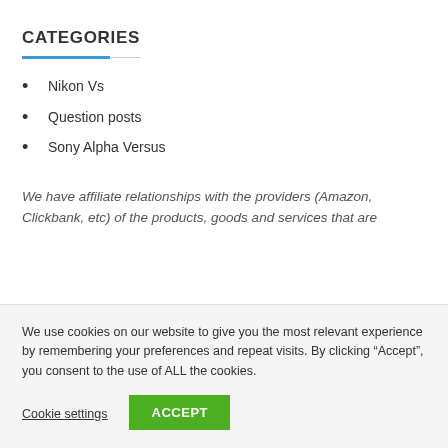CATEGORIES
Nikon Vs
Question posts
Sony Alpha Versus
We have affiliate relationships with the providers (Amazon, Clickbank, etc) of the products, goods and services that are
We use cookies on our website to give you the most relevant experience by remembering your preferences and repeat visits. By clicking “Accept”, you consent to the use of ALL the cookies.
Cookie settings  ACCEPT